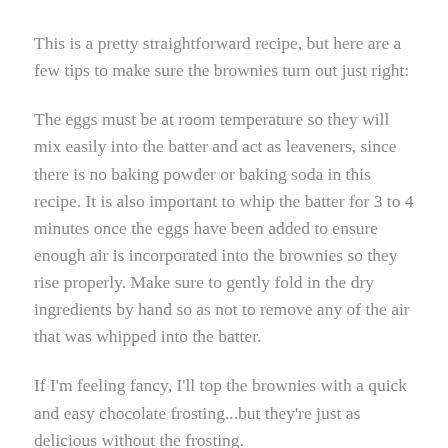This is a pretty straightforward recipe, but here are a few tips to make sure the brownies turn out just right:
The eggs must be at room temperature so they will mix easily into the batter and act as leaveners, since there is no baking powder or baking soda in this recipe. It is also important to whip the batter for 3 to 4 minutes once the eggs have been added to ensure enough air is incorporated into the brownies so they rise properly. Make sure to gently fold in the dry ingredients by hand so as not to remove any of the air that was whipped into the batter.
If I'm feeling fancy, I'll top the brownies with a quick and easy chocolate frosting...but they're just as delicious without the frosting.